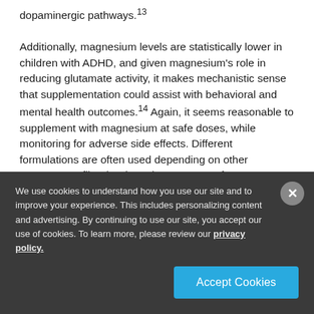dopaminergic pathways.13 Additionally, magnesium levels are statistically lower in children with ADHD, and given magnesium's role in reducing glutamate activity, it makes mechanistic sense that supplementation could assist with behavioral and mental health outcomes.14 Again, it seems reasonable to supplement with magnesium at safe doses, while monitoring for adverse side effects. Different formulations are often used depending on other symptom profiles (such as the presence of
We use cookies to understand how you use our site and to improve your experience. This includes personalizing content and advertising. By continuing to use our site, you accept our use of cookies. To learn more, please review our privacy policy.
Accept Cookies